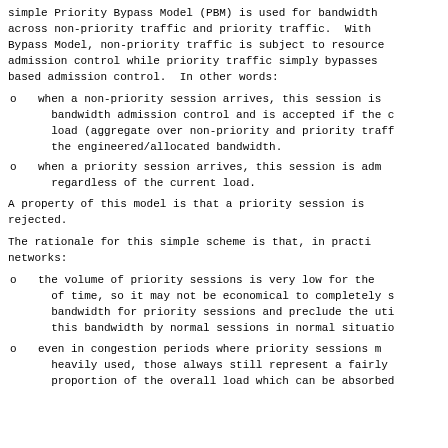simple Priority Bypass Model (PBM) is used for bandwidth across non-priority traffic and priority traffic.  With Bypass Model, non-priority traffic is subject to resource admission control while priority traffic simply bypasses based admission control.  In other words:
when a non-priority session arrives, this session is bandwidth admission control and is accepted if the current load (aggregate over non-priority and priority traffic) the engineered/allocated bandwidth.
when a priority session arrives, this session is admitted regardless of the current load.
A property of this model is that a priority session is never rejected.
The rationale for this simple scheme is that, in practical networks:
the volume of priority sessions is very low for the majority of time, so it may not be economical to completely set aside bandwidth for priority sessions and preclude the utilization of this bandwidth by normal sessions in normal situations.
even in congestion periods where priority sessions may be heavily used, those always still represent a fairly small proportion of the overall load which can be absorbed